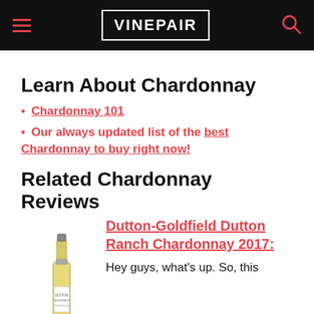VINEPAIR
Learn About Chardonnay
Chardonnay 101
Our always updated list of the best Chardonnay to buy right now!
Related Chardonnay Reviews
[Figure (photo): A bottle of Dutton-Goldfield Dutton Ranch Chardonnay 2017]
Dutton-Goldfield Dutton Ranch Chardonnay 2017:
Hey guys, what's up. So, this